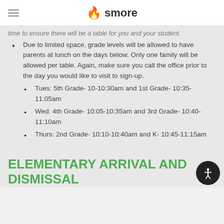smore
time to ensure there will be a table for you and your student.
Due to limited space, grade levels will be allowed to have parents at lunch on the days below. Only one family will be allowed per table. Again, make sure you call the office prior to the day you would like to visit to sign-up.
Tues: 5th Grade- 10-10:30am and 1st Grade- 10:35-11:05am
Wed: 4th Grade- 10:05-10:35am and 3rd Grade- 10:40-11:10am
Thurs: 2nd Grade- 10:10-10:40am and K- 10:45-11:15am
ELEMENTARY ARRIVAL AND DISMISSAL